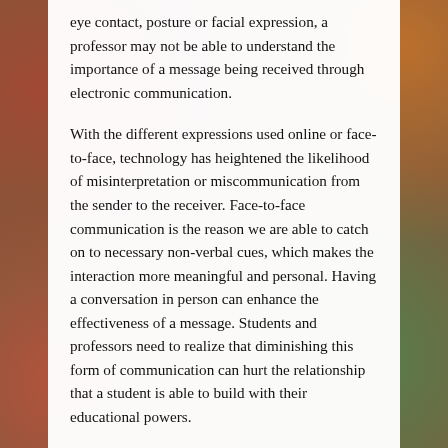eye contact, posture or facial expression, a professor may not be able to understand the importance of a message being received through electronic communication.
With the different expressions used online or face-to-face, technology has heightened the likelihood of misinterpretation or miscommunication from the sender to the receiver. Face-to-face communication is the reason we are able to catch on to necessary non-verbal cues, which makes the interaction more meaningful and personal. Having a conversation in person can enhance the effectiveness of a message. Students and professors need to realize that diminishing this form of communication can hurt the relationship that a student is able to build with their educational powers.
With today's technology, online classes have